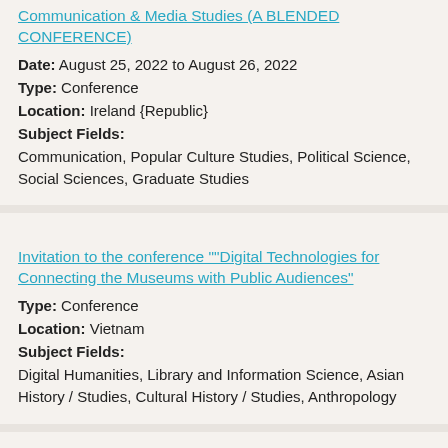Communication & Media Studies (A BLENDED CONFERENCE)
Date: August 25, 2022 to August 26, 2022
Type: Conference
Location: Ireland {Republic}
Subject Fields:
Communication, Popular Culture Studies, Political Science, Social Sciences, Graduate Studies
Invitation to the conference ""Digital Technologies for Connecting the Museums with Public Audiences"
Type: Conference
Location: Vietnam
Subject Fields:
Digital Humanities, Library and Information Science, Asian History / Studies, Cultural History / Studies, Anthropology
Current Trends in the Historiography of Inquisitions: Themes and Comparisons-INQUIRE First annual conference
Date: November 4, 2021 to November 5, 2021